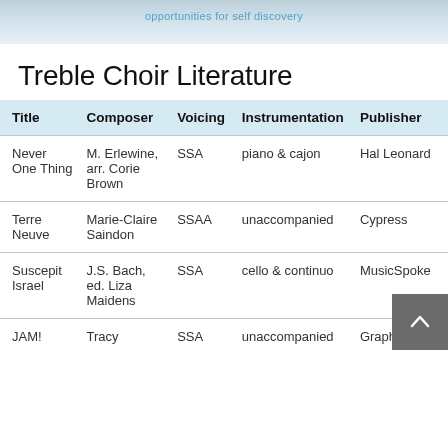[Figure (screenshot): Partial banner/header image with light blue-gray texture and partially visible blue link text]
Treble Choir Literature
| Title | Composer | Voicing | Instrumentation | Publisher |  |
| --- | --- | --- | --- | --- | --- |
| Never One Thing | M. Erlewine, arr. Corie Brown | SSA | piano & cajon | Hal Leonard |  |
| Terre Neuve | Marie-Claire Saindon | SSAA | unaccompanied | Cypress |  |
| Suscepit Israel | J.S. Bach, ed. Liza Maidens | SSA | cello & continuo | MusicSpoke |  |
| JAM! | Tracy | SSA | unaccompanied | Graphite |  |